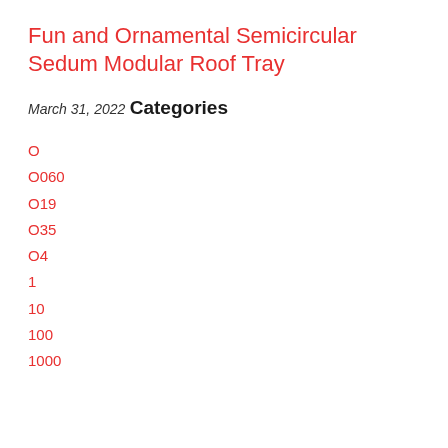Fun and Ornamental Semicircular Sedum Modular Roof Tray
March 31, 2022
Categories
O
O060
O19
O35
O4
1
10
100
1000